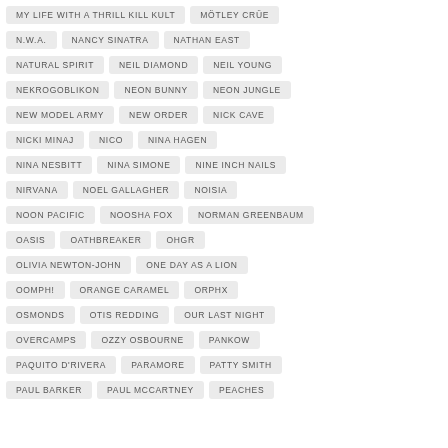MY LIFE WITH A THRILL KILL KULT
MÖTLEY CRÜE
N.W.A.
NANCY SINATRA
NATHAN EAST
NATURAL SPIRIT
NEIL DIAMOND
NEIL YOUNG
NEKROGOBLIKON
NEON BUNNY
NEON JUNGLE
NEW MODEL ARMY
NEW ORDER
NICK CAVE
NICKI MINAJ
NICO
NINA HAGEN
NINA NESBITT
NINA SIMONE
NINE INCH NAILS
NIRVANA
NOEL GALLAGHER
NOISIA
NOON PACIFIC
NOOSHA FOX
NORMAN GREENBAUM
OASIS
OATHBREAKER
OHGR
OLIVIA NEWTON-JOHN
ONE DAY AS A LION
OOMPH!
ORANGE CARAMEL
ORPHX
OSMONDS
OTIS REDDING
OUR LAST NIGHT
OVERCAMPS
OZZY OSBOURNE
PANKOW
PAQUITO D'RIVERA
PARAMORE
PATTY SMITH
PAUL BARKER
PAUL MCCARTNEY
PEACHES